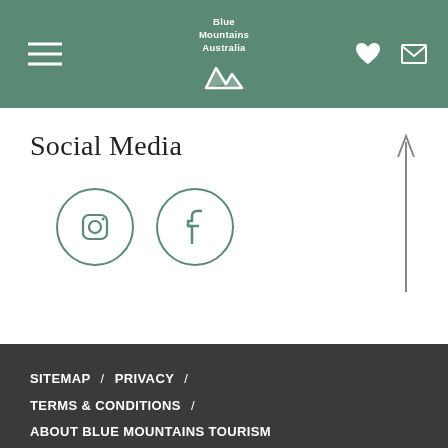Blue Mountains Australia
Social Media
[Figure (illustration): Instagram and Facebook social media icons as outlined circles with their respective logos]
SITEMAP / PRIVACY / TERMS & CONDITIONS / ABOUT BLUE MOUNTAINS TOURISM
© 2022 Blue Mountains Accommodation and Tourism Association / Powered by Bookeasy, Developed by Impart Media